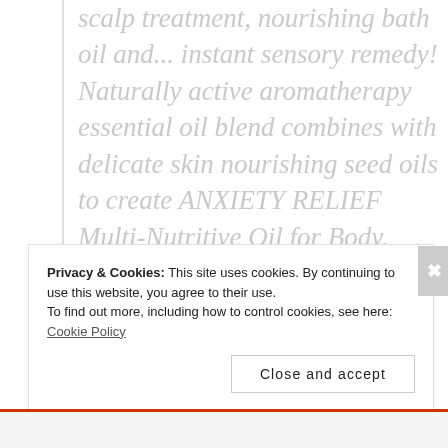scalp treatment, nourishing bath oil and... instant sensory remedy! Naturally active aromatherapy essential oil blend combines with delicate skin nourishing seed oils to create ANXIETY RELIEF Multi-Nutritive Oil for Body, Bath and Hair.
Anxiety Relief multi-nutrient enriched oil blend of Pomegranate, Passionfruit and Sea Buckthorn seed oils help smooth, hydrate and protect skin and hair with anti-oxidant...
Privacy & Cookies: This site uses cookies. By continuing to use this website, you agree to their use.
To find out more, including how to control cookies, see here: Cookie Policy
Close and accept